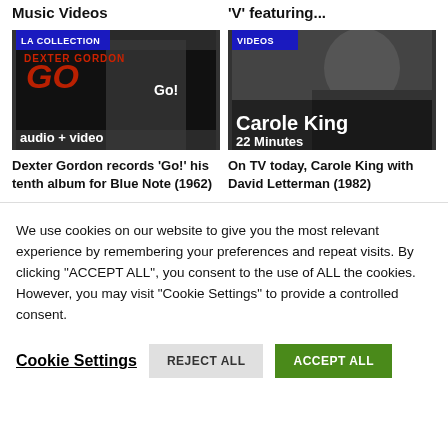Music Videos
'V' featuring...
[Figure (screenshot): Thumbnail for Dexter Gordon 'Go!' album with LA COLLECTION badge, showing album art and text 'audio + video']
Dexter Gordon records 'Go!' his tenth album for Blue Note (1962)
[Figure (screenshot): Thumbnail for Carole King with David Letterman, showing VIDEOS badge, 'Carole King 22 Minutes' text overlay on a dark photo]
On TV today, Carole King with David Letterman (1982)
We use cookies on our website to give you the most relevant experience by remembering your preferences and repeat visits. By clicking "ACCEPT ALL", you consent to the use of ALL the cookies. However, you may visit "Cookie Settings" to provide a controlled consent.
Cookie Settings
REJECT ALL
ACCEPT ALL